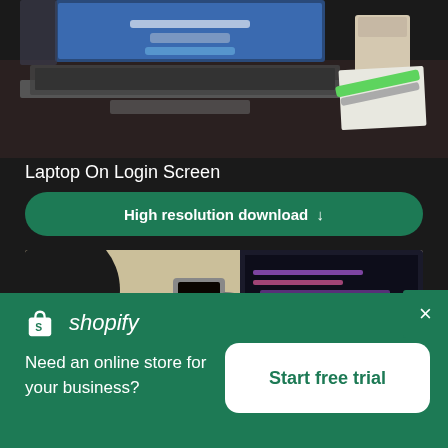[Figure (photo): Laptop on a dark desk showing login screen, with a white cup and green markers on paper visible to the right]
Laptop On Login Screen
High resolution download ↓
[Figure (photo): Dark laptop showing code on screen, coffee cup on wooden desk, person partially visible on left]
[Figure (logo): Shopify logo with shopping bag icon and italic shopify text]
Need an online store for your business?
Start free trial